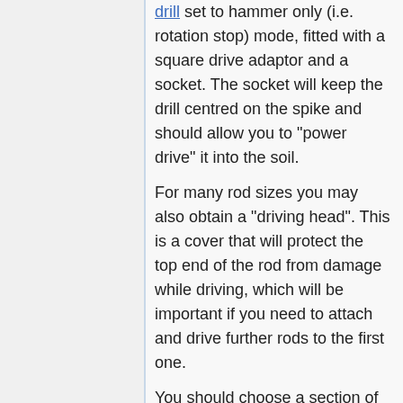drill set to hammer only (i.e. rotation stop) mode, fitted with a square drive adaptor and a socket. The socket will keep the drill centred on the spike and should allow you to "power drive" it into the soil.
For many rod sizes you may also obtain a "driving head". This is a cover that will protect the top end of the rod from damage while driving, which will be important if you need to attach and drive further rods to the first one.
You should choose a section of ground that is away from other service pipes and drains, and preferably is comprised of ordinary soil rather than builders rubble. This will not only make driving the spike easier, but will get a lower resistance electrode as a result.
If the spike hits something immovable...